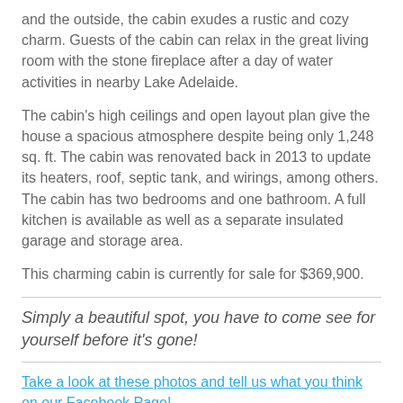and the outside, the cabin exudes a rustic and cozy charm. Guests of the cabin can relax in the great living room with the stone fireplace after a day of water activities in nearby Lake Adelaide.
The cabin's high ceilings and open layout plan give the house a spacious atmosphere despite being only 1,248 sq. ft. The cabin was renovated back in 2013 to update its heaters, roof, septic tank, and wirings, among others. The cabin has two bedrooms and one bathroom. A full kitchen is available as well as a separate insulated garage and storage area.
This charming cabin is currently for sale for $369,900.
Simply a beautiful spot, you have to come see for yourself before it's gone!
Take a look at these photos and tell us what you think on our Facebook Page!